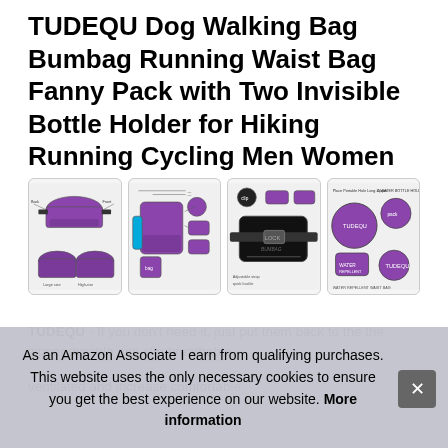TUDEQU Dog Walking Bag Bumbag Running Waist Bag Fanny Pack with Two Invisible Bottle Holder for Hiking Running Cycling Men Women
[Figure (photo): Four product images of a purple TUDEQU fanny pack/bumbag shown from different angles with labels and annotations]
TUDEQU - If you don't need it, just put them back to the zipp... dura... anti... brea... ventilated and increase comfortable.
As an Amazon Associate I earn from qualifying purchases. This website uses the only necessary cookies to ensure you get the best experience on our website. More information